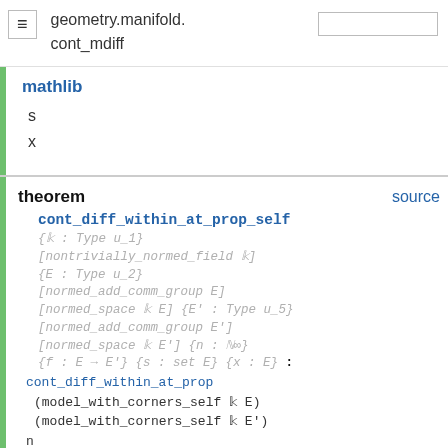geometry.manifold.cont_mdiff
mathlib
s
x
theorem
source
cont_diff_within_at_prop_self {𝕜 : Type u_1} [nontrivially_normed_field 𝕜] {E : Type u_2} [normed_add_comm_group E] [normed_space 𝕜 E] {E' : Type u_5} [normed_add_comm_group E'] [normed_space 𝕜 E'] {n : ℕ∞} {f : E → E'} {s : set E} {x : E} : cont_diff_within_at_prop (model_with_corners_self 𝕜 E) (model_with_corners_self 𝕜 E') n